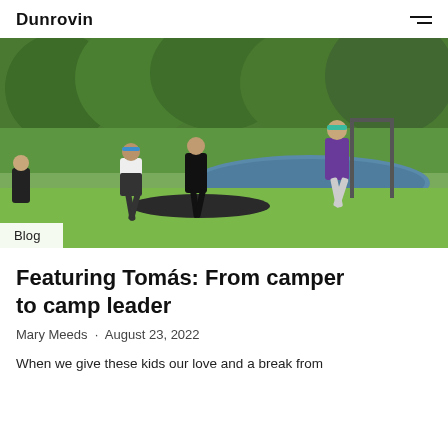Dunrovin
[Figure (photo): Children running and playing outdoors near a pond with lush green trees in the background. Several kids in athletic wear are mid-run on a grassy field.]
Blog
Featuring Tomás: From camper to camp leader
Mary Meeds · August 23, 2022
When we give these kids our love and a break from